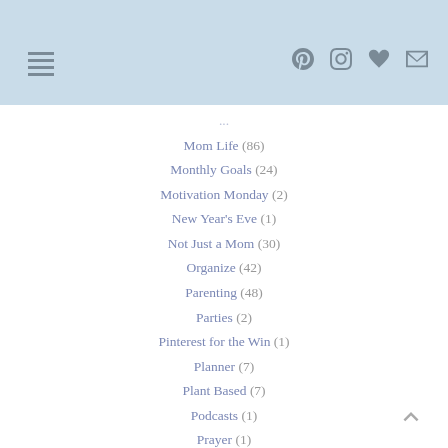Navigation header with menu icon and social icons (Pinterest, Instagram, heart, email)
Mom Life (86)
Monthly Goals (24)
Motivation Monday (2)
New Year's Eve (1)
Not Just a Mom (30)
Organize (42)
Parenting (48)
Parties (2)
Pinterest for the Win (1)
Planner (7)
Plant Based (7)
Podcasts (1)
Prayer (1)
Pregnancy (17)
Preppy (11)
Recipes (69)
Renovation (7)
Running (5)
Skincare (2)
STEM (3)
Stress Relievers (1)
Tanning Wipes (2)
Teaching (5)
Toddler Life (1)
Travel (44)
Travel with Kids (25)